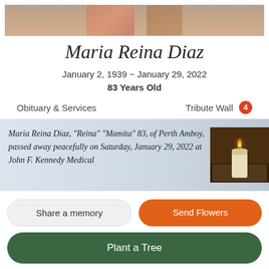[Figure (photo): Top portion of a portrait photo of Maria Reina Diaz, cropped at top edge]
Maria Reina Diaz
January 2, 1939 ~ January 29, 2022
83 Years Old
Obituary & Services
Tribute Wall 4
Maria Reina Diaz, “Reina” “Mamita” 83, of Perth Amboy, passed away peacefully on Saturday, January 29, 2022 at John F. Kennedy Medical
[Figure (photo): Photo of a lit white candle with a book in the background, dark warm-toned background]
Share a memory
Send Flowers
Plant a Tree